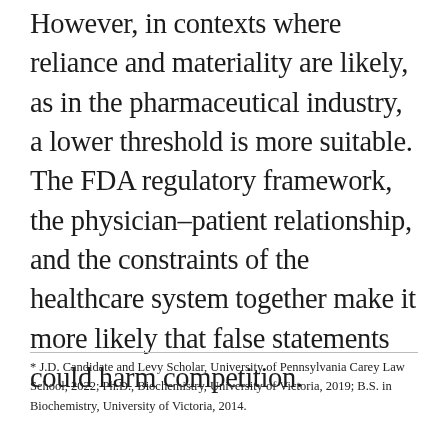However, in contexts where reliance and materiality are likely, as in the pharmaceutical industry, a lower threshold is more suitable. The FDA regulatory framework, the physician–patient relationship, and the constraints of the healthcare system together make it more likely that false statements could harm competition.
* J.D. Candidate and Levy Scholar, University of Pennsylvania Carey Law School, 2022; Ph.D., Biochemistry, University of Victoria, 2019; B.S. in Biochemistry, University of Victoria, 2014.